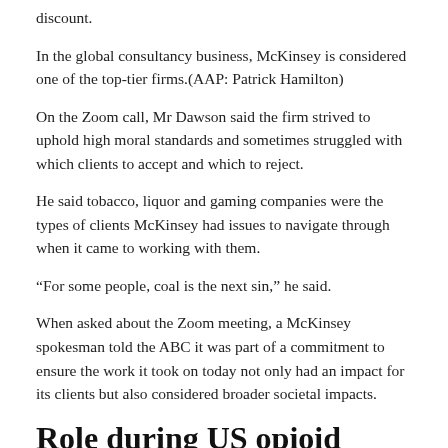discount.
In the global consultancy business, McKinsey is considered one of the top-tier firms.(AAP: Patrick Hamilton)
On the Zoom call, Mr Dawson said the firm strived to uphold high moral standards and sometimes struggled with which clients to accept and which to reject.
He said tobacco, liquor and gaming companies were the types of clients McKinsey had issues to navigate through when it came to working with them.
“For some people, coal is the next sin,” he said.
When asked about the Zoom meeting, a McKinsey spokesman told the ABC it was part of a commitment to ensure the work it took on today not only had an impact for its clients but also considered broader societal impacts.
Role during US opioid crisis
McKinsey’s ability to explore a problem can sometimes